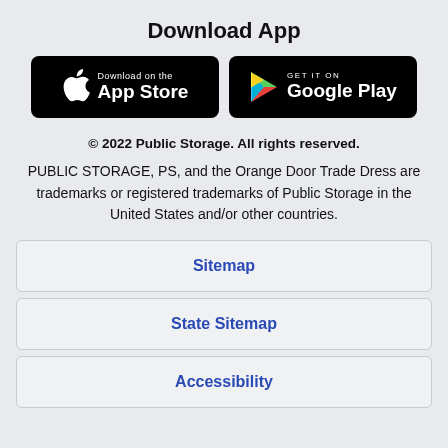Download App
[Figure (logo): Apple App Store badge (Download on the App Store) and Google Play badge (GET IT ON Google Play) side by side on black rounded rectangles]
© 2022 Public Storage. All rights reserved.
PUBLIC STORAGE, PS, and the Orange Door Trade Dress are trademarks or registered trademarks of Public Storage in the United States and/or other countries.
Sitemap
State Sitemap
Accessibility